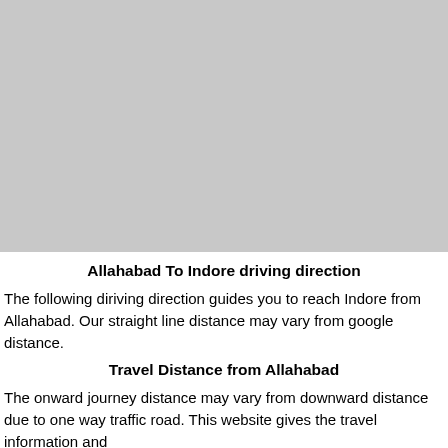[Figure (map): A gray placeholder rectangle representing a map image showing the route from Allahabad to Indore.]
Allahabad To Indore driving direction
The following diriving direction guides you to reach Indore from Allahabad. Our straight line distance may vary from google distance.
Travel Distance from Allahabad
The onward journey distance may vary from downward distance due to one way traffic road. This website gives the travel information and